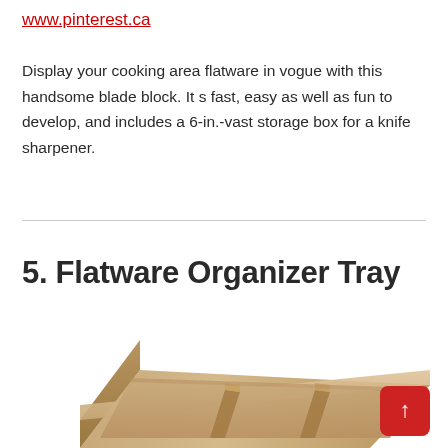www.pinterest.ca
Display your cooking area flatware in vogue with this handsome blade block. It s fast, easy as well as fun to develop, and includes a 6-in.-vast storage box for a knife sharpener.
5. Flatware Organizer Tray
[Figure (photo): A wooden flatware organizer tray with divided compartments, photographed from slightly above at an angle, showing a light tan/beige wood color.]